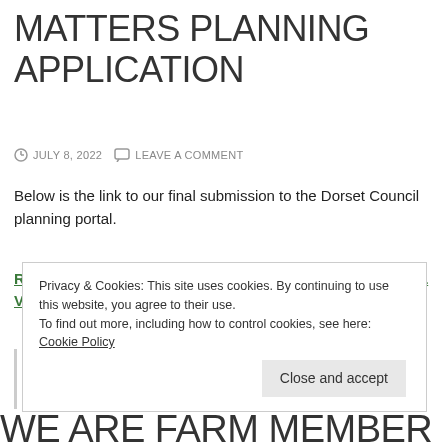MATTERS PLANNING APPLICATION
JULY 8, 2022   LEAVE A COMMENT
Below is the link to our final submission to the Dorset Council planning portal.
RESPONSE TO CONSULTATION ON FOUNDRY LEA FINAL VERSION
Privacy & Cookies: This site uses cookies. By continuing to use this website, you agree to their use.
To find out more, including how to control cookies, see here: Cookie Policy
WE ARE FARM MEMBER...